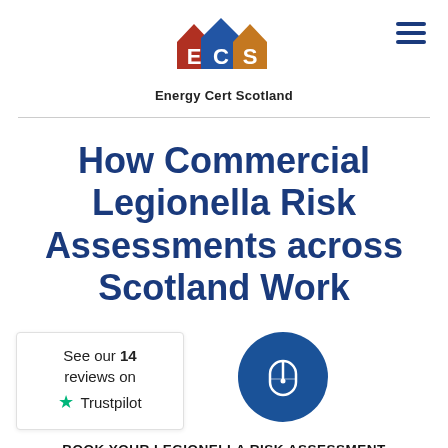[Figure (logo): ECS Energy Cert Scotland logo — three house outlines (red, blue, orange) with letters E, C, S in white, and text 'Energy Cert Scotland' below]
How Commercial Legionella Risk Assessments across Scotland Work
[Figure (logo): Trustpilot widget showing 'See our 14 reviews on Trustpilot' with green star icon]
[Figure (illustration): Dark blue circle containing a mouse/booking icon in white outline]
BOOK YOUR LEGIONELLA RISK ASSESSMENT